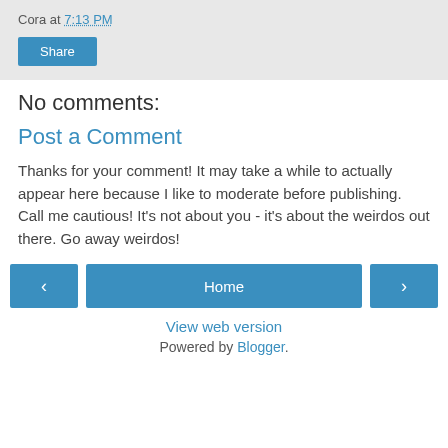Cora at 7:13 PM
Share
No comments:
Post a Comment
Thanks for your comment! It may take a while to actually appear here because I like to moderate before publishing. Call me cautious! It's not about you - it's about the weirdos out there. Go away weirdos!
< Home >
View web version
Powered by Blogger.